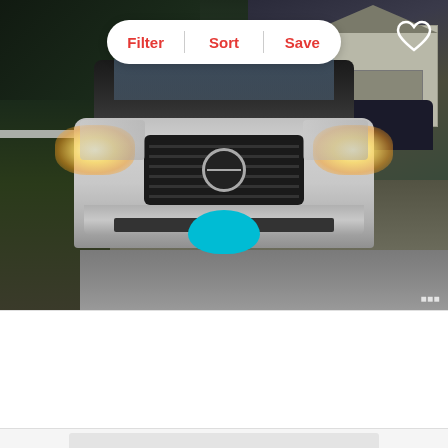[Figure (photo): Front view of a 2008 Nissan Titan SE FFV truck with headlights on, silver/white color, photographed at dusk. A blue blob redacts the license plate. Navigation bar with Filter, Sort, Save buttons overlaid at top center. Heart/save icon at top right.]
2008 Nissan Titan SE FFV
$10,409
131,470 Miles | South Orange, NJ
est. $150/mo
Track Price
Check Availability